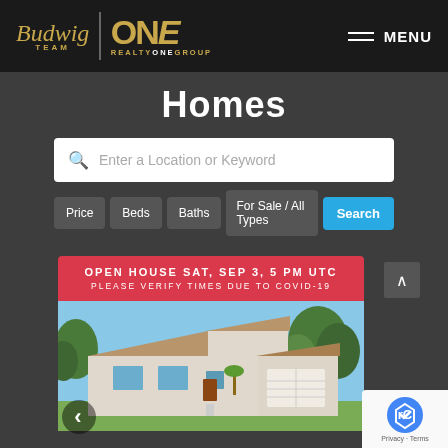[Figure (logo): Budwig Team | Realty ONE Group logo on dark navbar]
MENU
Homes
[Figure (screenshot): Search bar with placeholder 'Enter a Location or Keyword' and filter buttons: Price, Beds, Baths, For Sale / All Types, Search (blue)]
+ Advanced Search
[Figure (photo): Open House listing card: OPEN HOUSE SAT, SEP 3, 5 PM UTC / PLEASE VERIFY TIMES DUE TO COVID-19 / Photo of a single-story ranch house with a two-car garage, blue sky and trees in background]